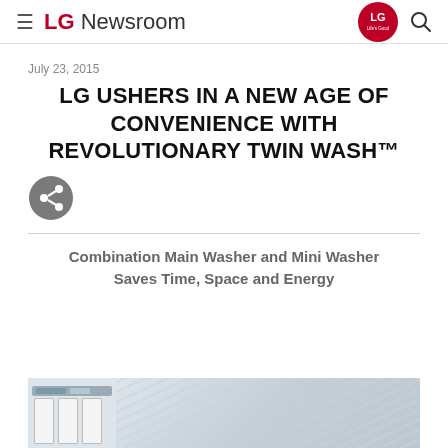≡ LG Newsroom
July 23, 2015
LG USHERS IN A NEW AGE OF CONVENIENCE WITH REVOLUTIONARY TWIN WASH™
[Figure (illustration): Share button icon - grey circular button with share symbol]
Combination Main Washer and Mini Washer Saves Time, Space and Energy
[Figure (photo): Bottom portion of LG Twin Wash appliance photograph - showing the washing machine unit with white panels against a textured background]